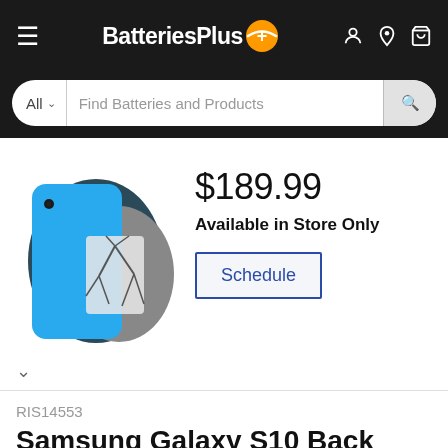[Figure (screenshot): BatteriesPlus website header with logo, hamburger menu, user icon, location icon, and cart icon on black background]
[Figure (screenshot): Search bar with 'All' dropdown and 'Find Batteries and Products' placeholder on black background]
[Figure (photo): Product image showing a blue smartphone (iPhone XR) overlapping a cracked screen repair graphic on dark gray circular background]
$189.99
Available in Store Only
Schedule
RIS14553
Samsung Galaxy S10 Back Glass Repair - Pink